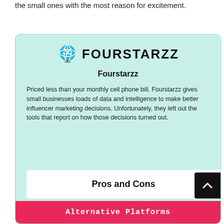the small ones with the most reason for excitement.
[Figure (logo): Fourstarzz logo: a stylized blue globe/tree icon followed by bold uppercase text FOURSTARZZ]
Fourstarzz
Priced less than your monthly cell phone bill, Fourstarzz gives small businesses loads of data and intelligence to make better influencer marketing decisions. Unfortunately, they left out the tools that report on how those decisions turned out.
Pros and Cons
Alternative Platforms